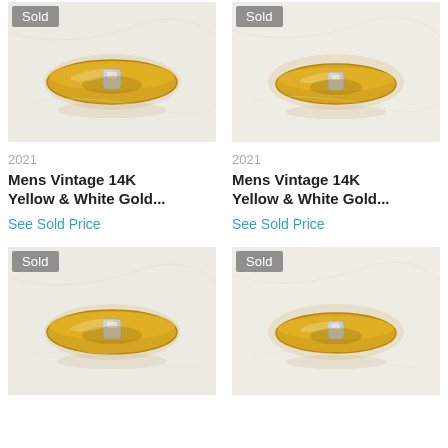[Figure (photo): Gold ring with white gold accent, 'Sold' badge overlay, top-left product listing]
[Figure (photo): Gold ring with white gold accent, 'Sold' badge overlay, top-right product listing]
2021
Mens Vintage 14K Yellow & White Gold...
See Sold Price
2021
Mens Vintage 14K Yellow & White Gold...
See Sold Price
[Figure (photo): Gold ring with white gold accent, 'Sold' badge overlay, bottom-left product listing]
[Figure (photo): Gold ring with white gold accent, 'Sold' badge overlay, bottom-right product listing]